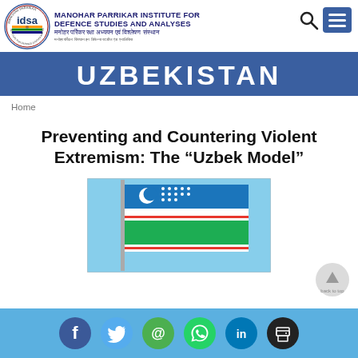MANOHAR PARRIKAR INSTITUTE FOR DEFENCE STUDIES AND ANALYSES
UZBEKISTAN
Home
Preventing and Countering Violent Extremism: The “Uzbek Model”
[Figure (photo): Photograph of the Uzbekistan flag on a flagpole against a blue sky]
Social media share icons: Facebook, Twitter, Email, WhatsApp, LinkedIn, Print